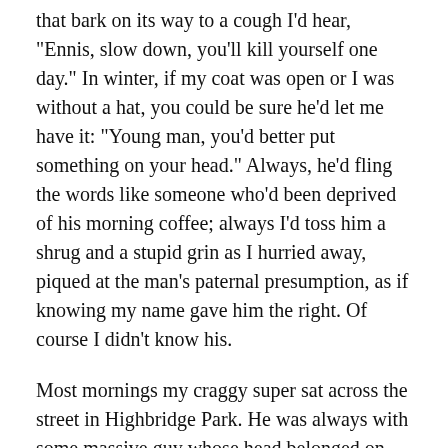that bark on its way to a cough I'd hear, "Ennis, slow down, you'll kill yourself one day." In winter, if my coat was open or I was without a hat, you could be sure he'd let me have it: "Young man, you'd better put something on your head." Always, he'd fling the words like someone who'd been deprived of his morning coffee; always I'd toss him a shrug and a stupid grin as I hurried away, piqued at the man's paternal presumption, as if knowing my name gave him the right. Of course I didn't know his.
Most mornings my craggy super sat across the street in Highbridge Park. He was always with some massive guy whose head belonged on the face of a nickel; together, the dark Indian and the pale, tiny building super made an odd pair. By evening he'd be back by the gate at his building's rear—I assumed the small alley beyond, lined with piles of lumber, rows of garbage cans, led to his apartment—ready to croak some variation on "I see you slowed down," refusing to let me forget my interminable lateness. But there were other evenings when he'd drop his admonishments, cornering me instead with